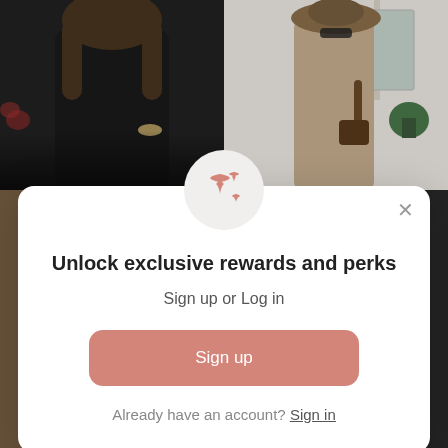[Figure (photo): Two fashion photos side by side at top: left shows woman in black crop top and skirt with bracelets; right shows woman in beige/tan maxi dress with sunglasses and hat]
[Figure (illustration): Sparkle/star icon in a light gray circle]
Unlock exclusive rewards and perks
Sign up or Log in
Sign up
Already have an account? Sign in
[Figure (photo): Two fashion photos side by side at bottom, partially visible]